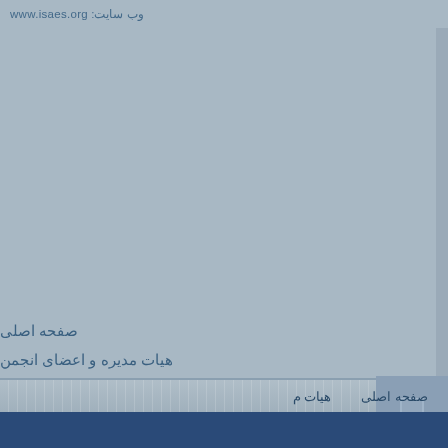وب سایت: www.isaes.org
صفحه اصلی
هیات مدیره و اعضای انجمن
مقاله ها و نشریات
آموزش مداوم
اخبار
ارتباط با ما
صفحه اصلی   هیات م